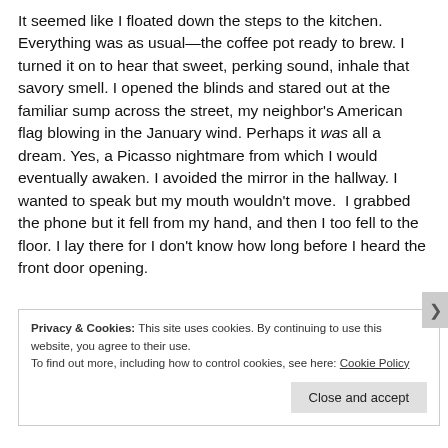It seemed like I floated down the steps to the kitchen. Everything was as usual—the coffee pot ready to brew. I turned it on to hear that sweet, perking sound, inhale that savory smell. I opened the blinds and stared out at the familiar sump across the street, my neighbor's American flag blowing in the January wind. Perhaps it was all a dream. Yes, a Picasso nightmare from which I would eventually awaken. I avoided the mirror in the hallway. I wanted to speak but my mouth wouldn't move.  I grabbed the phone but it fell from my hand, and then I too fell to the floor. I lay there for I don't know how long before I heard the front door opening.
Privacy & Cookies: This site uses cookies. By continuing to use this website, you agree to their use. To find out more, including how to control cookies, see here: Cookie Policy